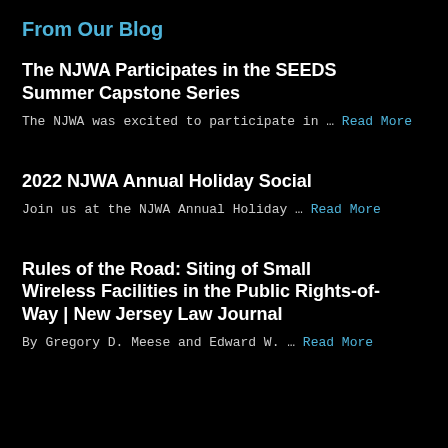From Our Blog
The NJWA Participates in the SEEDS Summer Capstone Series
The NJWA was excited to participate in … Read More
2022 NJWA Annual Holiday Social
Join us at the NJWA Annual Holiday … Read More
Rules of the Road: Siting of Small Wireless Facilities in the Public Rights-of-Way | New Jersey Law Journal
By Gregory D. Meese and Edward W. … Read More